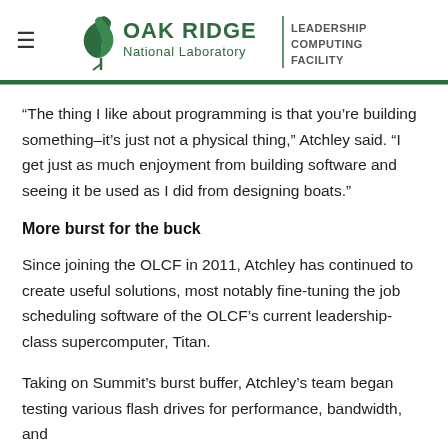Oak Ridge National Laboratory | Leadership Computing Facility
“The thing I like about programming is that you’re building something–it’s just not a physical thing,” Atchley said. “I get just as much enjoyment from building software and seeing it be used as I did from designing boats.”
More burst for the buck
Since joining the OLCF in 2011, Atchley has continued to create useful solutions, most notably fine-tuning the job scheduling software of the OLCF’s current leadership-class supercomputer, Titan.
Taking on Summit’s burst buffer, Atchley’s team began testing various flash drives for performance, bandwidth, and